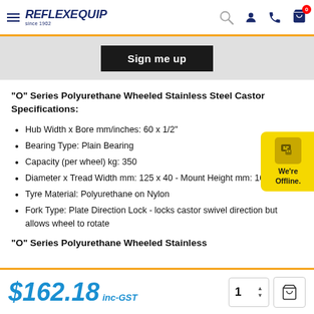Reflex Equip - since 1902
Sign me up
"O" Series Polyurethane Wheeled Stainless Steel Castor Specifications:
Hub Width x Bore mm/inches: 60 x 1/2"
Bearing Type: Plain Bearing
Capacity (per wheel) kg: 350
Diameter x Tread Width mm: 125 x 40 - Mount Height mm: 162
Tyre Material: Polyurethane on Nylon
Fork Type: Plate Direction Lock - locks castor swivel direction but allows wheel to rotate
"O" Series Polyurethane Wheeled Stainless
$162.18 inc-GST